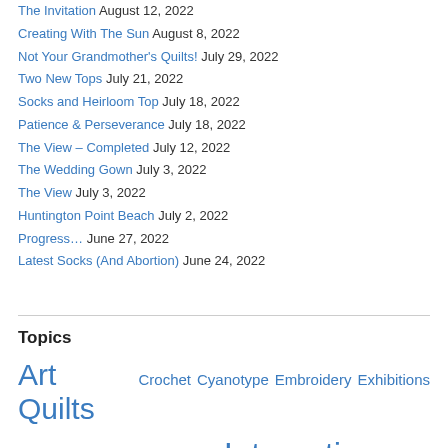The Invitation August 12, 2022
Creating With The Sun August 8, 2022
Not Your Grandmother's Quilts! July 29, 2022
Two New Tops July 21, 2022
Socks and Heirloom Top July 18, 2022
Patience & Perseverance July 18, 2022
The View – Completed July 12, 2022
The Wedding Gown July 3, 2022
The View July 3, 2022
Huntington Point Beach July 2, 2022
Progress… June 27, 2022
Latest Socks (And Abortion) June 24, 2022
Topics
Art Quilts Crochet Cyanotype Embroidery Exhibitions Faces Food Garden Home Interesting Stuff iPhone